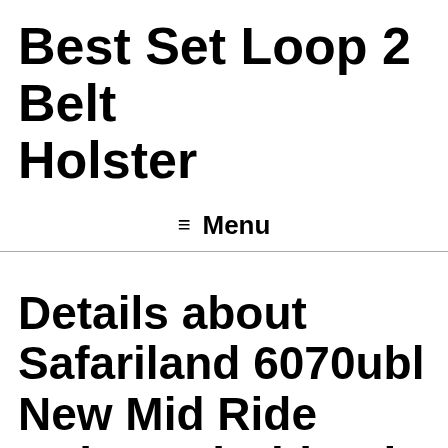Best Set Loop 2 Belt Holster
≡ Menu
Details about  Safariland 6070ubl New Mid Ride Universal Ubl Belt Best Set Loop 2 Belt Holster